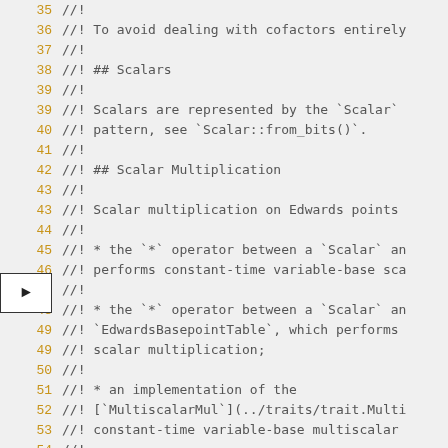Code listing lines 35-54 showing Rust doc comments about Scalars and Scalar Multiplication on Edwards points. Lines include //! comments explaining scalar representation via Scalar::from_bits(), scalar multiplication operators, constant-time variable-base scalar multiplication, EdwardsBasepointTable, MultiscalarMul trait reference.